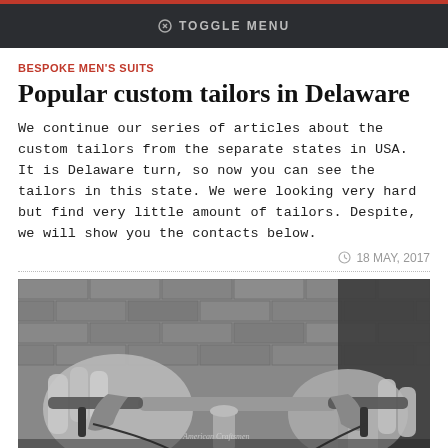TOGGLE MENU
BESPOKE MEN'S SUITS
Popular custom tailors in Delaware
We continue our series of articles about the custom tailors from the separate states in USA. It is Delaware turn, so now you can see the tailors in this state. We were looking very hard but find very little amount of tailors. Despite, we will show you the contacts below.
18 MAY, 2017
[Figure (photo): Black and white photo of suited hands gripping a bicycle handlebar with brake levers, in front of a brick wall background.]